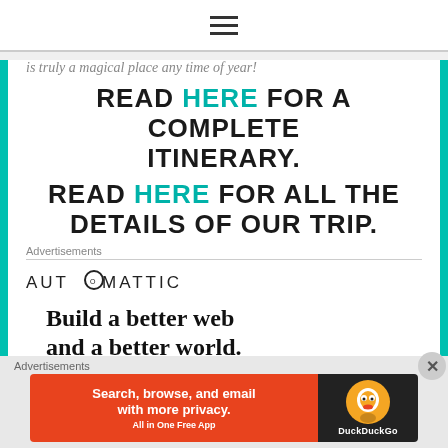≡
is truly a magical place any time of year!
READ HERE FOR A COMPLETE ITINERARY.
READ HERE FOR ALL THE DETAILS OF OUR TRIP.
Advertisements
[Figure (logo): Automattic logo with circular 'O' icon and uppercase text]
Build a better web and a better world.
Advertisements
[Figure (screenshot): DuckDuckGo advertisement banner: orange background with text 'Search, browse, and email with more privacy. All in One Free App' and DuckDuckGo logo on dark background]